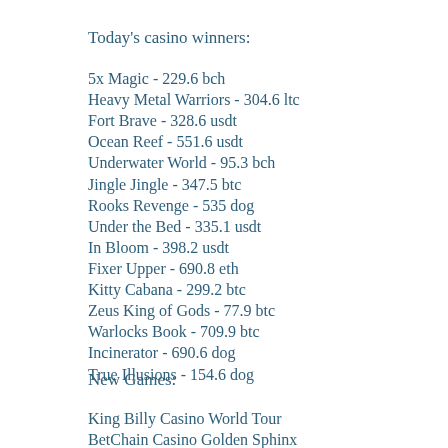Today's casino winners:
5x Magic - 229.6 bch
Heavy Metal Warriors - 304.6 ltc
Fort Brave - 328.6 usdt
Ocean Reef - 551.6 usdt
Underwater World - 95.3 bch
Jingle Jingle - 347.5 btc
Rooks Revenge - 535 dog
Under the Bed - 335.1 usdt
In Bloom - 398.2 usdt
Fixer Upper - 690.8 eth
Kitty Cabana - 299.2 btc
Zeus King of Gods - 77.9 btc
Warlocks Book - 709.9 btc
Incinerator - 690.6 dog
True Illusions - 154.6 dog
New Games:
King Billy Casino World Tour
BetChain Casino Golden Sphinx